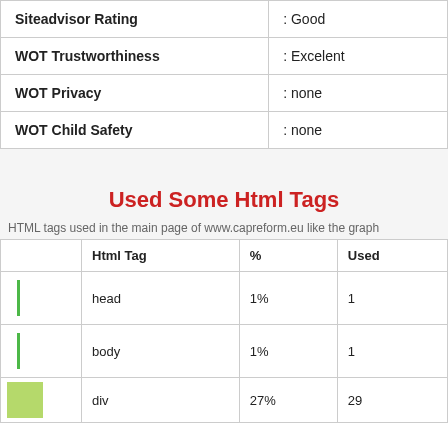|  |  |
| --- | --- |
| Siteadvisor Rating | : Good |
| WOT Trustworthiness | : Excelent |
| WOT Privacy | : none |
| WOT Child Safety | : none |
Used Some Html Tags
HTML tags used in the main page of www.capreform.eu like the graph
|  | Html Tag | % | Used |
| --- | --- | --- | --- |
|  | head | 1% | 1 |
|  | body | 1% | 1 |
| [green] | div | 27% | 29 |